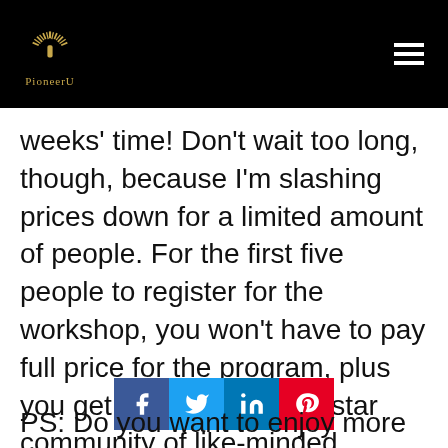PioneerU
weeks' time! Don't wait too long, though, because I'm slashing prices down for a limited amount of people. For the first five people to register for the workshop, you won't have to pay full price for the program, plus you get access to our all-star community of like-minded entrepreneurs like you.
Blessings,
Tabita and the PioneerU Team
[Figure (other): Social share buttons row: Facebook (blue), Twitter (light blue), LinkedIn (blue), Pinterest (red)]
PS: Do you want to enjoy more of our